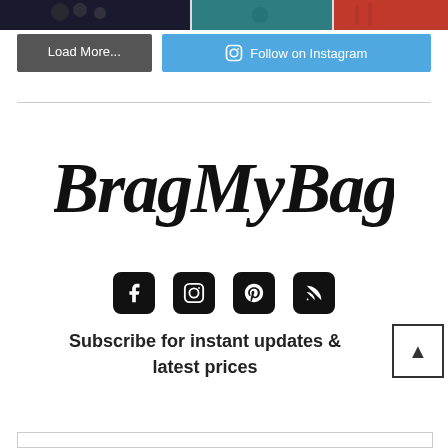[Figure (photo): Partial view of colorful bags/accessories at the top of the page]
[Figure (other): Two buttons: 'Load More...' (dark grey) and 'Follow on Instagram' (blue with Instagram icon)]
[Figure (logo): BragMyBag logo in stylized black script/graffiti font]
[Figure (other): Social media icons row: Facebook, Instagram, Pinterest, RSS — black rounded square icons]
Subscribe for instant updates & latest prices